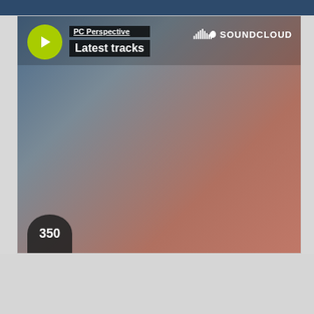[Figure (screenshot): SoundCloud embedded music player widget showing 'PC Perspective - Latest tracks' with a yellow-green play button, gradient background (blue-gray to salmon/coral), SoundCloud logo in top right, track count of 350, and a Privacy policy label at bottom left.]
PC Perspective
Latest tracks
SOUNDCLOUD
350
Privacy policy